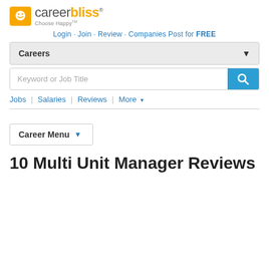[Figure (logo): CareerBliss logo with yellow smiley face icon and 'Choose Happy' tagline]
Login · Join · Review · Companies Post for FREE
Careers (dropdown)
Keyword or Job Title (search bar)
Jobs | Salaries | Reviews | More
Career Menu
10 Multi Unit Manager Reviews